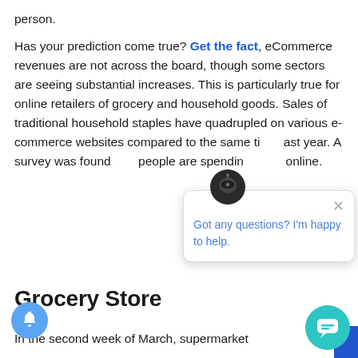person.
Has your prediction come true? Get the fact, eCommerce revenues are not across the board, though some sectors are seeing substantial increases. This is particularly true for online retailers of grocery and household goods. Sales of traditional household staples have quadrupled on various e-commerce websites compared to the same time last year. A survey was found that people are spending more online.
Grocery Store
In the second week of March, supermarket
[Figure (other): Chat popup widget with bot icon, close button, and text 'Got any questions? I'm happy to help.']
[Figure (other): Blue notification bell button in bottom-left corner]
[Figure (other): Teal chat bubble button in bottom-right corner]